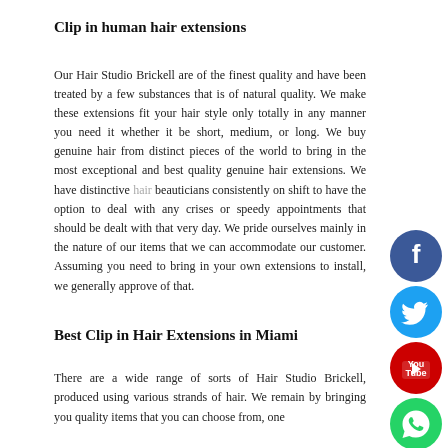Clip in human hair extensions
Our Hair Studio Brickell are of the finest quality and have been treated by a few substances that is of natural quality. We make these extensions fit your hair style only totally in any manner you need it whether it be short, medium, or long. We buy genuine hair from distinct pieces of the world to bring in the most exceptional and best quality genuine hair extensions. We have distinctive hair beauticians consistently on shift to have the option to deal with any crises or speedy appointments that should be dealt with that very day. We pride ourselves mainly in the nature of our items that we can accommodate our customer. Assuming you need to bring in your own extensions to install, we generally approve of that.
Best Clip in Hair Extensions in Miami
There are a wide range of sorts of Hair Studio Brickell, produced using various strands of hair. We remain by bringing you quality items that you can choose from, one
[Figure (infographic): Social media icons: Facebook (blue circle), Twitter (blue circle), YouTube (red circle), WhatsApp (green circle) stacked vertically on the right side]